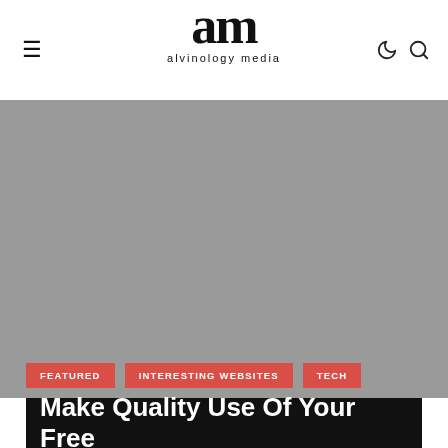am alvinology media
[Figure (photo): Large grey placeholder/hero image area]
FEATURED    INTERESTING WEBSITES    TECH
Make Quality Use Of Your Free